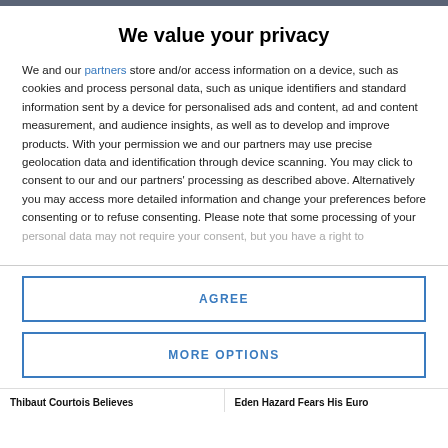We value your privacy
We and our partners store and/or access information on a device, such as cookies and process personal data, such as unique identifiers and standard information sent by a device for personalised ads and content, ad and content measurement, and audience insights, as well as to develop and improve products. With your permission we and our partners may use precise geolocation data and identification through device scanning. You may click to consent to our and our partners' processing as described above. Alternatively you may access more detailed information and change your preferences before consenting or to refuse consenting. Please note that some processing of your personal data may not require your consent, but you have a right to
AGREE
MORE OPTIONS
Thibaut Courtois Believes    Eden Hazard Fears His Euro